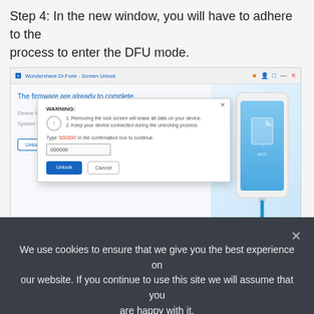Step 4: In the new window, you will have to adhere to the process to enter the DFU mode.
[Figure (screenshot): Screenshot of Wondershare Dr.Fone Screen Unlock application showing a warning dialog with unlock confirmation input, and a phone illustration on the right.]
We use cookies to ensure that we give you the best experience on our website. If you continue to use this site we will assume that you are happy with it.